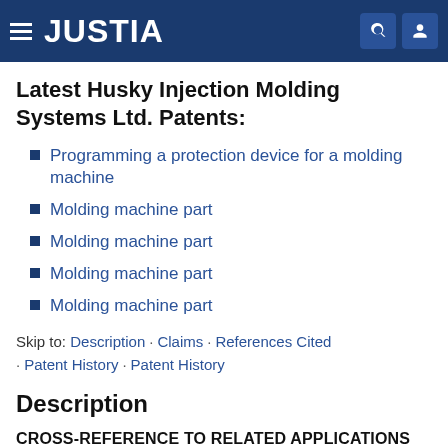JUSTIA
Latest Husky Injection Molding Systems Ltd. Patents:
Programming a protection device for a molding machine
Molding machine part
Molding machine part
Molding machine part
Molding machine part
Skip to: Description · Claims · References Cited · Patent History · Patent History
Description
CROSS-REFERENCE TO RELATED APPLICATIONS